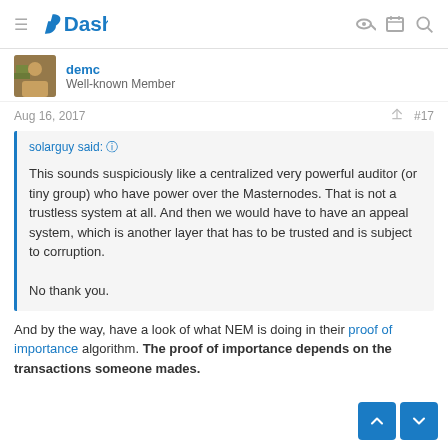Dash
demc — Well-known Member
Aug 16, 2017   #17
solarguy said: ↑

This sounds suspiciously like a centralized very powerful auditor (or tiny group) who have power over the Masternodes. That is not a trustless system at all. And then we would have to have an appeal system, which is another layer that has to be trusted and is subject to corruption.

No thank you.
And by the way, have a look of what NEM is doing in their proof of importance algorithm. The proof of importance depends on the transactions someone mades.